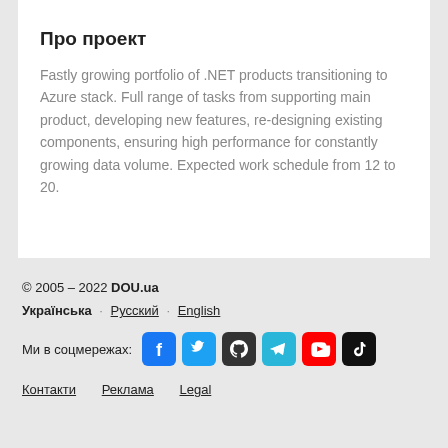Про проект
Fastly growing portfolio of .NET products transitioning to Azure stack. Full range of tasks from supporting main product, developing new features, re-designing existing components, ensuring high performance for constantly growing data volume. Expected work schedule from 12 to 20.
© 2005 – 2022 DOU.ua
Українська · Русский · English
Ми в соцмережах: [social icons]
Контакти   Реклама   Legal